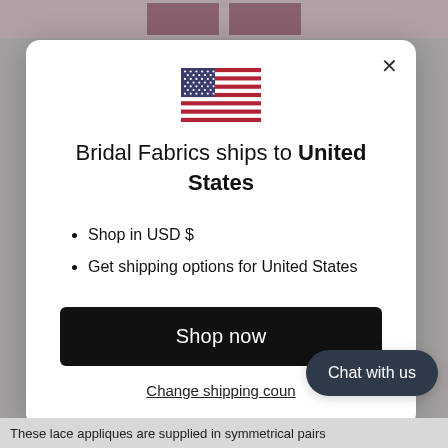[Figure (screenshot): US flag SVG illustration centered in modal]
Bridal Fabrics ships to United States
Shop in USD $
Get shipping options for United States
Shop now
Change shipping coun
Chat with us
These lace appliques are supplied in symmetrical pairs